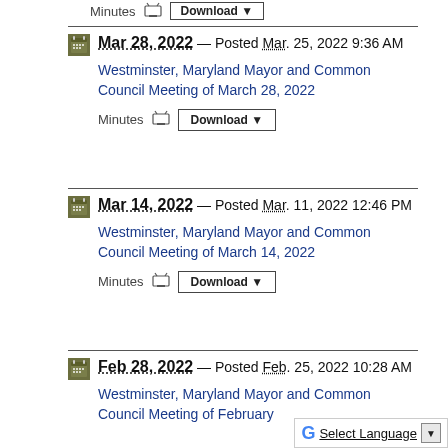Minutes  Download ▼  (top strip partial)
Mar 28, 2022 — Posted Mar 25, 2022 9:36 AM
Westminster, Maryland Mayor and Common Council Meeting of March 28, 2022
Minutes  Download ▼
Mar 14, 2022 — Posted Mar 11, 2022 12:46 PM
Westminster, Maryland Mayor and Common Council Meeting of March 14, 2022
Minutes  Download ▼
Feb 28, 2022 — Posted Feb 25, 2022 10:28 AM
Westminster, Maryland Mayor and Common Council Meeting of February...